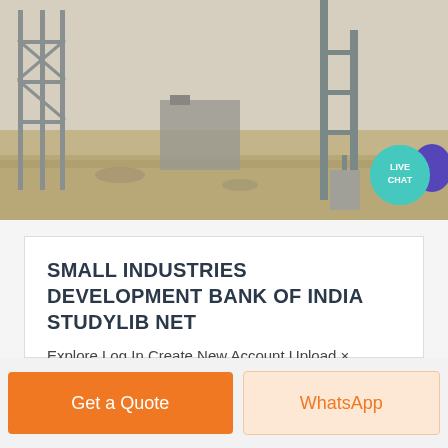[Figure (photo): Construction site with metal scaffolding, cranes, and industrial equipment on sandy ground. A 'LIVE CHAT' bubble is overlaid in the top-right corner.]
SMALL INDUSTRIES DEVELOPMENT BANK OF INDIA STUDYLIB NET
Explore Log In Create New Account Upload ×
Get a Quote
WhatsApp